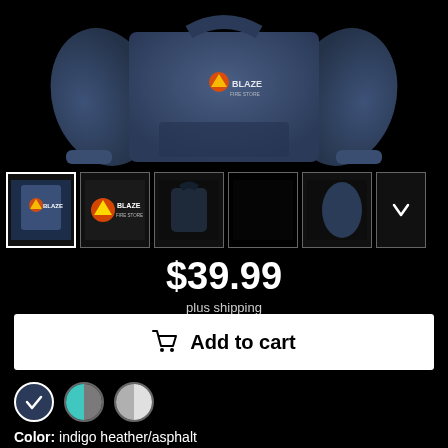[Figure (photo): Main product image: a navy/indigo heather hoodie sweatshirt displayed on black background. The hoodie has a Blaze Fire Store logo on the chest.]
[Figure (photo): Thumbnail row with 5 product image thumbnails and a down-arrow navigation button. Thumbnails show front view with logo, zoomed logo view, dark front view, solid black view, and side view of the hoodie.]
$39.99
plus shipping
Add to cart
[Figure (other): Three color swatches: indigo heather/asphalt (selected, dark navy with checkmark), teal/grey split circle, and grey/white split circle.]
Color: indigo heather/asphalt
S  M  L  XL  2XL